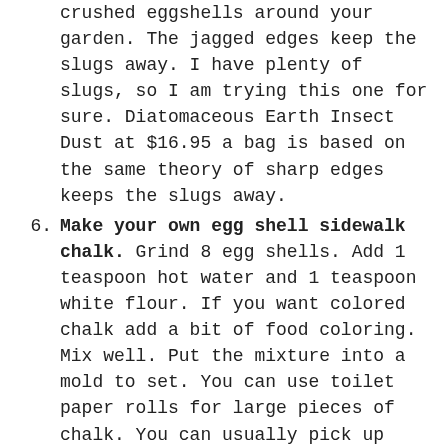crushed eggshells around your garden. The jagged edges keep the slugs away. I have plenty of slugs, so I am trying this one for sure. Diatomaceous Earth Insect Dust at $16.95 a bag is based on the same theory of sharp edges keeps the slugs away.
6. Make your own egg shell sidewalk chalk. Grind 8 egg shells. Add 1 teaspoon hot water and 1 teaspoon white flour. If you want colored chalk add a bit of food coloring. Mix well. Put the mixture into a mold to set. You can use toilet paper rolls for large pieces of chalk. You can usually pick up sidewalk chalk at the 99 Cent Store, but I love the idea of making chalk in different shapes. Would be a great addition to a kidz summer theme party.
7. Add to bone broth for extra calcium